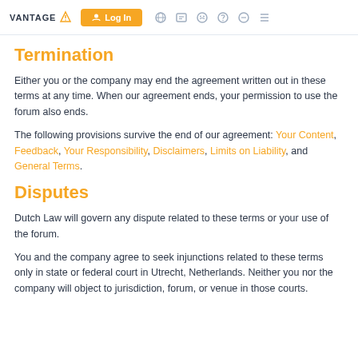VANTAGE | Log In | [nav icons]
Termination
Either you or the company may end the agreement written out in these terms at any time. When our agreement ends, your permission to use the forum also ends.
The following provisions survive the end of our agreement: Your Content, Feedback, Your Responsibility, Disclaimers, Limits on Liability, and General Terms.
Disputes
Dutch Law will govern any dispute related to these terms or your use of the forum.
You and the company agree to seek injunctions related to these terms only in state or federal court in Utrecht, Netherlands. Neither you nor the company will object to jurisdiction, forum, or venue in those courts.